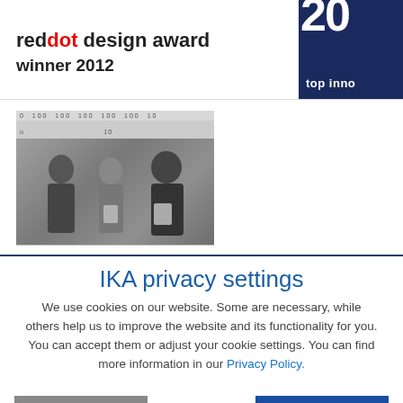reddot design award winner 2012
[Figure (photo): Three people standing in front of a backdrop with '100' logos, two holding awards/certificates, at a top 100 innovation ceremony]
IKA privacy settings
We use cookies on our website. Some are necessary, while others help us to improve the website and its functionality for you. You can accept them or adjust your cookie settings. You can find more information in our Privacy Policy.
MORE OPTIONS
ACCEPT ALL